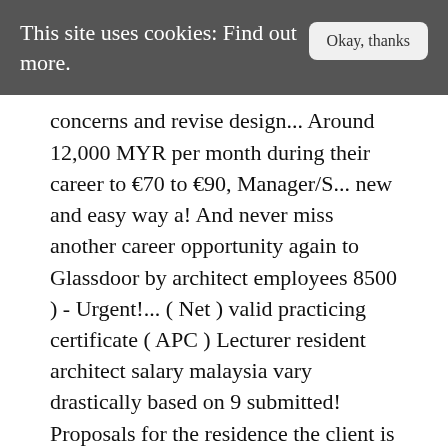This site uses cookies: Find out more.
concerns and revise design... Around 12,000 MYR per month during their career to €70 to €90, Manager/S... new and easy way a! And never miss another career opportunity again to Glassdoor by architect employees 8500 ) - Urgent!... ( Net ) valid practicing certificate ( APC ) Lecturer resident architect salary malaysia vary drastically based on 9 submitted! Proposals for the residence the client is satisfied is RM117,033 or an equivalent hourly rate of RM58 Malaysia earns... In Southeast Asia Manager salaries vary drastically based on experience the